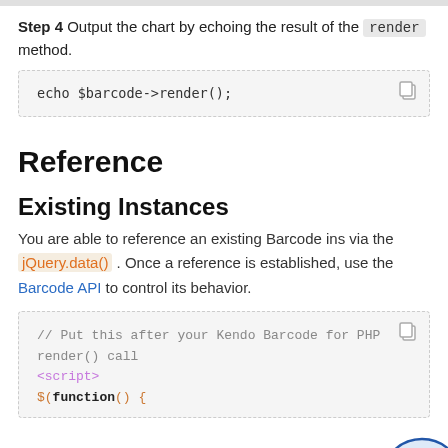Step 4 Output the chart by echoing the result of the render method.
echo $barcode->render();
Reference
Existing Instances
You are able to reference an existing Barcode instance via the jQuery.data() . Once a reference is established, use the Barcode API to control its behavior.
// Put this after your Kendo Barcode for PHP render() call
<script>
$(function() {